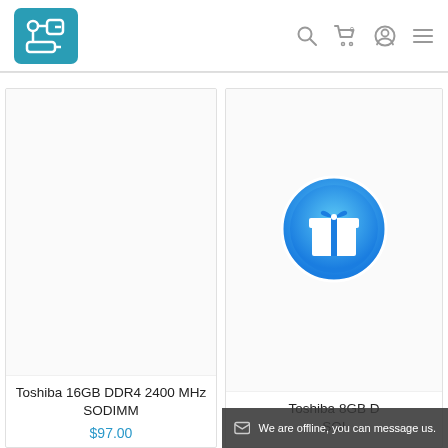[Figure (logo): Teal/blue rounded square logo with white circuit/microchip line icon]
[Figure (illustration): Navigation icons: search magnifier, shopping cart with 0 badge, user profile circle, hamburger menu]
[Figure (photo): Product card for Toshiba 16GB DDR4 2400 MHz SODIMM, white background, no product image shown]
Toshiba 16GB DDR4 2400 MHz SODIMM
$97.00
[Figure (illustration): Partial product card for Toshiba 8GB SODIMM with a blue circular gift icon badge in the center]
Toshiba 8GB ... SO...
We are offline, you can message us.